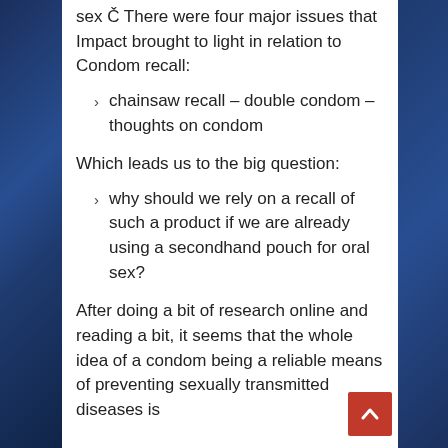sex Č There were four major issues that Impact brought to light in relation to Condom recall:
chainsaw recall – double condom – thoughts on condom
Which leads us to the big question:
why should we rely on a recall of such a product if we are already using a secondhand pouch for oral sex?
After doing a bit of research online and reading a bit, it seems that the whole idea of a condom being a reliable means of preventing sexually transmitted diseases is